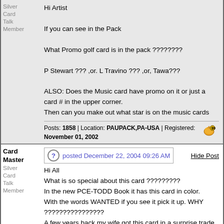Silver Card Talk Member
Hi Artist

If you can see in the Pack

What Promo golf card is in the pack ????????

P Stewart ??? ,or. L Travino ??? ,or, Tawa???

ALSO: Does the Music card have promo on it or just a card # in the upper corner.
Then can you make out what star is on the music cards
Posts: 1858 | Location: PAUPACK,PA-USA | Registered: November 01, 2002
Card Master
Silver Card Talk Member
posted December 22, 2004 09:26 AM
Hide Post
Hi All
What is so special about this card ?????????
In the new PCE-TODD Book it has this card in color.
With the words WANTED if you see it pick it up. WHY ????????????????
A few years back my wife got this card in a surprise trade and gave it to me.
Here is a pic of the front and back of the card
[Figure (photo): Small thumbnail image placeholder of card front and back]
Posts: 1858 | Location: PAUPACK,PA-USA | Registered: November 01, 2002